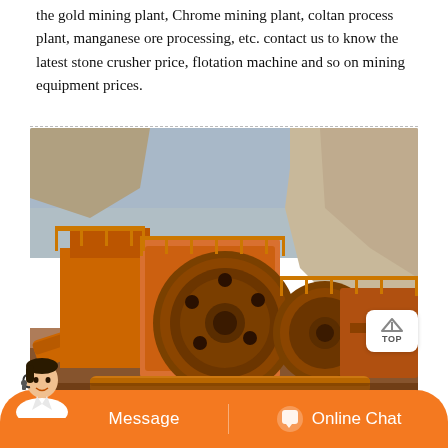the gold mining plant, Chrome mining plant, coltan process plant, manganese ore processing, etc. contact us to know the latest stone crusher price, flotation machine and so on mining equipment prices.
[Figure (photo): Industrial mining crusher machine (jaw crusher) in orange/rust color, mounted on a platform with a large flywheel visible, set against rocky terrain and a blue sky background.]